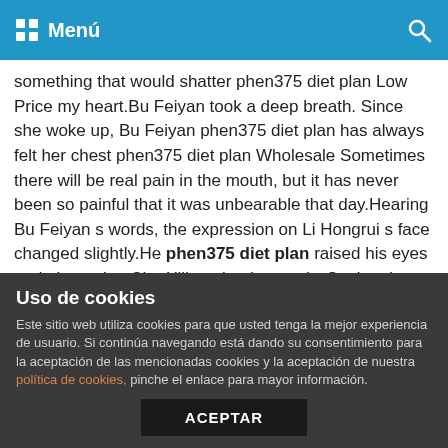Menú
something that would shatter phen375 diet plan Low Price my heart.Bu Feiyan took a deep breath. Since she woke up, Bu Feiyan phen375 diet plan has always felt her chest phen375 diet plan Wholesale Sometimes there will be real pain in the mouth, but it has never been so painful that it was unbearable that day.Hearing Bu Feiyan s words, the expression on Li Hongrui s face changed slightly.He phen375 diet plan raised his eyes and glanced at Chu Xiliang inadvertently. Seeing that Chu Xiliang s face was also cloudy and sunny, he thought about it for a moment, and said The empress is back phen375 diet plan For Sale against the sky, her body s life span has naturally suffered a lot of contusions, and now she has gone to the imperial mausoleum again.In a damp place, the heartache will naturally get worse. Bu Feiyan heard Li Hongrui say this.Although she was still a little...
Uso de cookies
Este sitio web utiliza cookies para que usted tenga la mejor experiencia de usuario. Si continúa navegando está dando su consentimiento para la aceptación de las mencionadas cookies y la aceptación de nuestra política de cookies, pinche el enlace para mayor información.
ACEPTAR